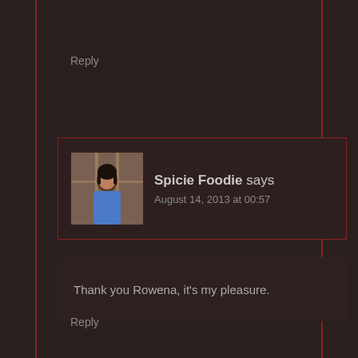including mine!
Reply
Spicie Foodie says
August 14, 2013 at 00:57
[Figure (photo): Avatar photo of Spicie Foodie, a person standing indoors]
Thank you Rowena, it's my pleasure.
Reply